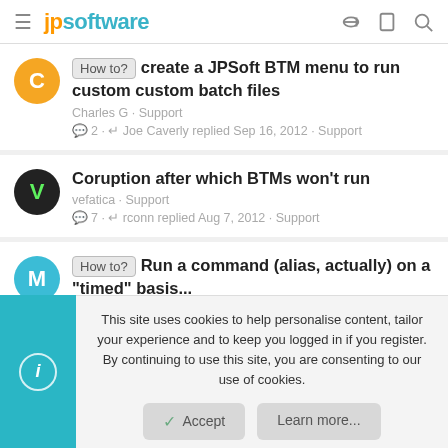jpsoftware
How to? create a JPSoft BTM menu to run custom custom batch files
Charles G · Support
2 · Joe Caverly replied Sep 16, 2012 · Support
Coruption after which BTMs won't run
vefatica · Support
7 · rconn replied Aug 7, 2012 · Support
How to? Run a command (alias, actually) on a "timed" basis...
This site uses cookies to help personalise content, tailor your experience and to keep you logged in if you register.
By continuing to use this site, you are consenting to our use of cookies.